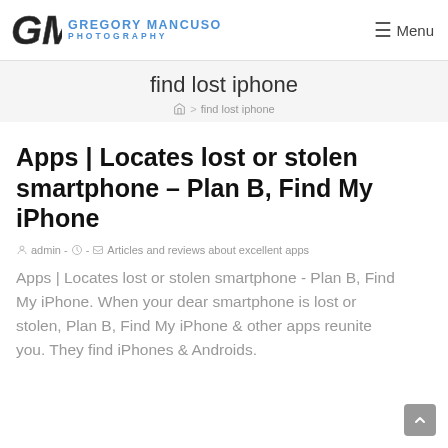Gregory Mancuso Photography — Menu
find lost iphone
🏠 > find lost iphone
Apps | Locates lost or stolen smartphone – Plan B, Find My iPhone
admin - Articles and reviews about excellent apps
Apps | Locates lost or stolen smartphone - Plan B, Find My iPhone. When your dear smartphone is lost or stolen, Plan B, Find My iPhone & other apps reunite you. They find iPhones & Androids.